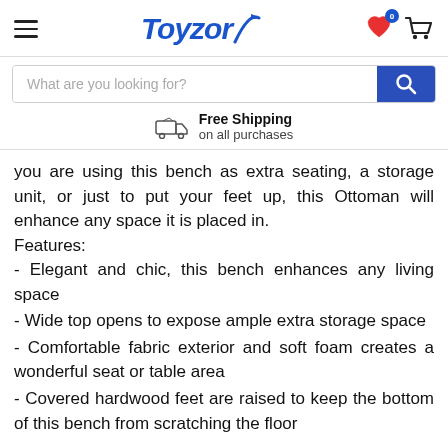[Figure (screenshot): Toyzory e-commerce website header with hamburger menu, logo, wishlist icon with badge '0', and cart icon]
[Figure (screenshot): Search bar with placeholder 'What are you looking for?' and blue search button]
Free Shipping on all purchases
you are using this bench as extra seating, a storage unit, or just to put your feet up, this Ottoman will enhance any space it is placed in.
Features:
- Elegant and chic, this bench enhances any living space
- Wide top opens to expose ample extra storage space
- Comfortable fabric exterior and soft foam creates a wonderful seat or table area
- Covered hardwood feet are raised to keep the bottom of this bench from scratching the floor